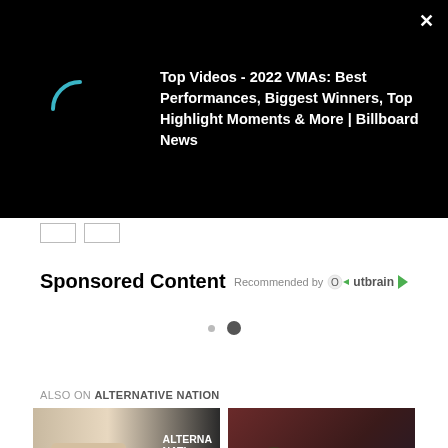[Figure (screenshot): Video player overlay bar on black background with a teal loading spinner arc on the left, and video title text on the right. Close X button top-right.]
Top Videos - 2022 VMAs: Best Performances, Biggest Winners, Top Highlight Moments & More | Billboard News
Sponsored Content
Recommended by Outbrain
ALSO ON ALTERNATIVE NATION
[Figure (photo): Interview: Shinedown article card with person's face and Alternative Nation logo text]
[Figure (photo): Rage Against The Machine article card showing performer with afro hair in red shirt, 23 days ago, 1 comment]